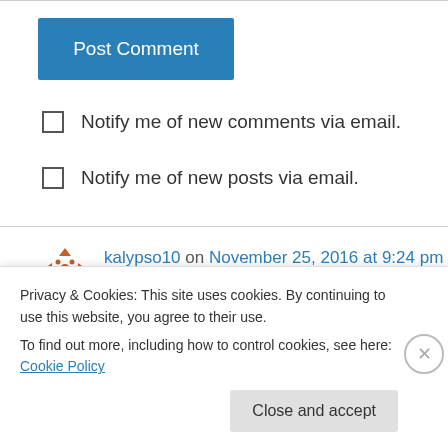[Figure (other): Blue 'Post Comment' button]
Notify me of new comments via email.
Notify me of new posts via email.
kalypso10 on November 25, 2016 at 9:24 pm
Congratulations!
Liked by 1 person
Privacy & Cookies: This site uses cookies. By continuing to use this website, you agree to their use.
To find out more, including how to control cookies, see here: Cookie Policy
Close and accept